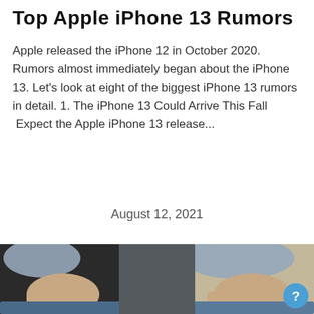Top Apple iPhone 13 Rumors
Apple released the iPhone 12 in October 2020. Rumors almost immediately began about the iPhone 13. Let's look at eight of the biggest iPhone 13 rumors in detail. 1. The iPhone 13 Could Arrive This Fall  Expect the Apple iPhone 13 release...
August 12, 2021
[Figure (photo): Person's hands on a laptop or device keyboard, wearing dark and grey sleeves, close-up photo]